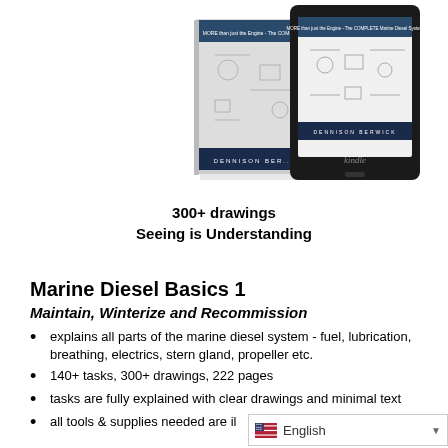[Figure (photo): Book and Kindle e-reader showing Marine Diesel Basics 1 by Dennison Berwick with technical drawings on the cover]
300+ drawings
Seeing is Understanding
Marine Diesel Basics 1
Maintain, Winterize and Recommission
explains all parts of the marine diesel system - fuel, lubrication, breathing, electrics, stern gland, propeller etc.
140+ tasks, 300+ drawings, 222 pages
tasks are fully explained with clear drawings and minimal text
all tools & supplies needed are il...